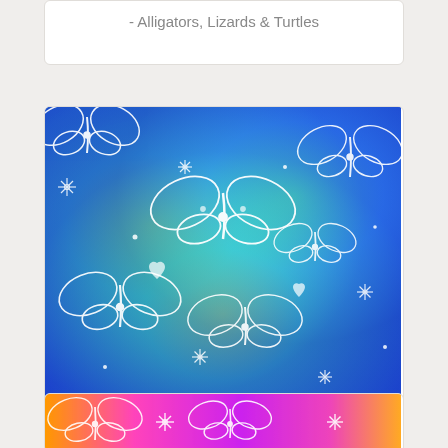- Alligators, Lizards & Turtles
[Figure (photo): Fabric print showing white butterfly outlines on a blue, green, and teal tie-dye style background with stars and floral elements - AE-Comfy Flannel Print 1031-11 Blue Butterflies]
AE-Comfy Flannel Print 1031-11 Blue - Butterflies
[Figure (photo): Fabric print showing white butterfly and floral outlines on a pink, magenta, orange, and purple gradient background]